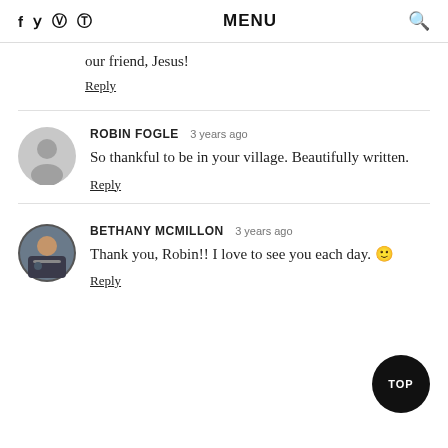f  y   pinterest  instagram   MENU   search
our friend, Jesus!
Reply
ROBIN FOGLE  3 years ago
So thankful to be in your village. Beautifully written.
Reply
BETHANY MCMILLON  3 years ago
Thank you, Robin!! I love to see you each day. 🙂
Reply